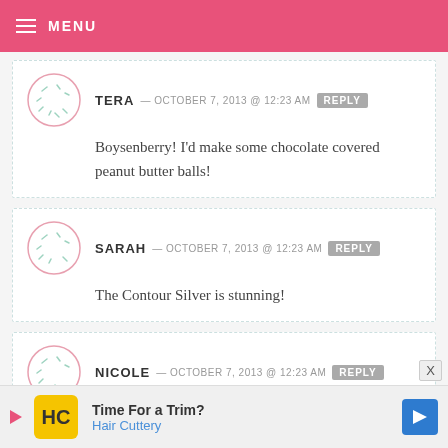MENU
TERA — OCTOBER 7, 2013 @ 12:23 AM  REPLY
Boysenberry! I'd make some chocolate covered peanut butter balls!
SARAH — OCTOBER 7, 2013 @ 12:23 AM  REPLY
The Contour Silver is stunning!
NICOLE — OCTOBER 7, 2013 @ 12:23 AM  REPLY
i love the contour silverl i definitely
Time For a Trim? Hair Cuttery